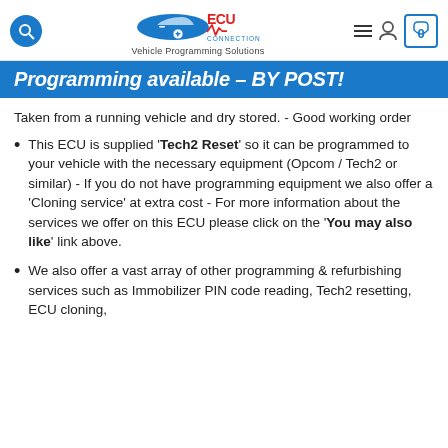ECU Connection - Vehicle Programming Solutions
Programming available – BY POST!
Taken from a running vehicle and dry stored. - Good working order
This ECU is supplied 'Tech2 Reset' so it can be programmed to your vehicle with the necessary equipment (Opcom / Tech2 or similar) - If you do not have programming equipment we also offer a 'Cloning service' at extra cost - For more information about the services we offer on this ECU please click on the 'You may also like' link above.
We also offer a vast array of other programming & refurbishing services such as Immobilizer PIN code reading, Tech2 resetting, ECU cloning,